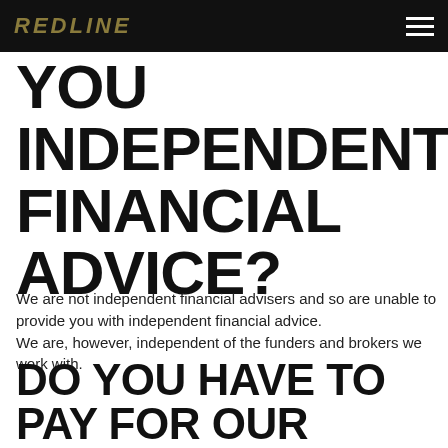REDLINE
YOU INDEPENDENT FINANCIAL ADVICE?
We are not independent financial advisers and so are unable to provide you with independent financial advice. We are, however, independent of the funders and brokers we work with.
DO YOU HAVE TO PAY FOR OUR SERVICE?